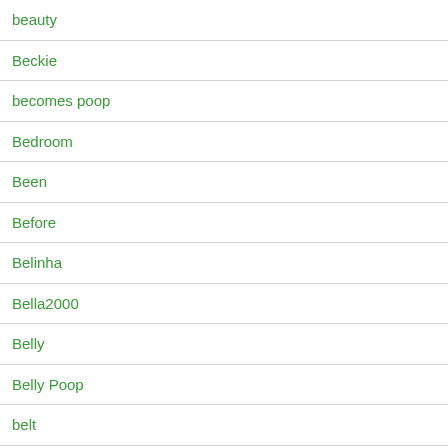beauty
Beckie
becomes poop
Bedroom
Been
Before
Belinha
Bella2000
Belly
Belly Poop
belt
Bending
Best joy